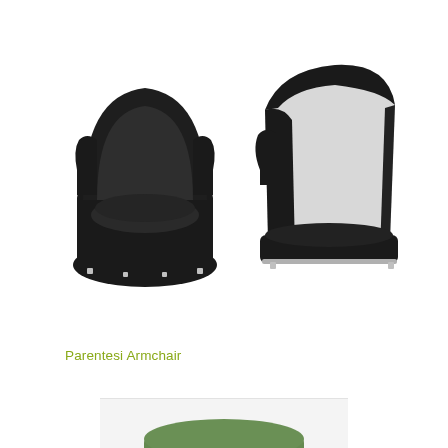[Figure (photo): Two views of the Parentesi Armchair: front view showing a black upholstered tub chair with chrome feet, and a side/rear view showing the same chair with a white back panel and black sides.]
Parentesi Armchair
[Figure (photo): Partial view of a green upholstered stool, cropped at the bottom of the page.]